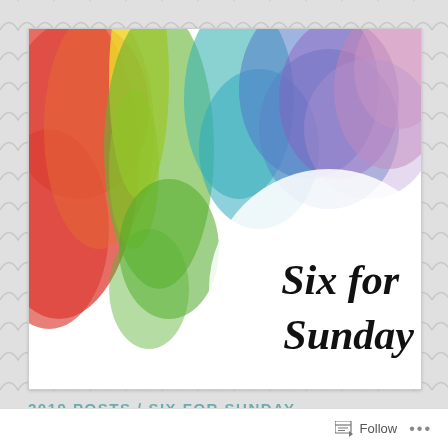[Figure (illustration): Watercolor painting with rainbow colors (red, orange, yellow, green, blue, purple, pink) bleeding from top and left, fading to white in the lower right portion. Script text 'Six for Sunday' overlaid in bold italic black font in the lower right area.]
2019 POSTS / SIX FOR SUNDAY
Follow ···